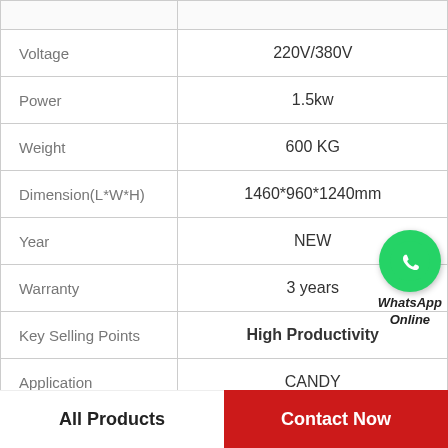|  |  |
| --- | --- |
| Voltage | 220V/380V |
| Power | 1.5kw |
| Weight | 600 KG |
| Dimension(L*W*H) | 1460*960*1240mm |
| Year | NEW |
| Warranty | 3 years |
| Key Selling Points | High Productivity |
| Application | CANDY |
[Figure (logo): WhatsApp Online contact button with green phone icon and italic bold text 'WhatsApp Online']
All Products
Contact Now